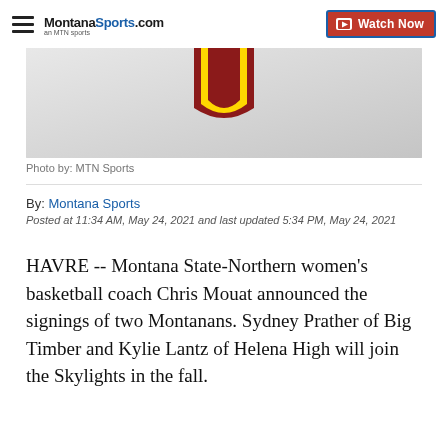MontanaSports.com | Watch Now
[Figure (photo): Partial photo showing a sports logo with red and yellow colors on a grey/white background, photo by MTN Sports]
Photo by: MTN Sports
By: Montana Sports
Posted at 11:34 AM, May 24, 2021 and last updated 5:34 PM, May 24, 2021
HAVRE -- Montana State-Northern women's basketball coach Chris Mouat announced the signings of two Montanans. Sydney Prather of Big Timber and Kylie Lantz of Helena High will join the Skylights in the fall.